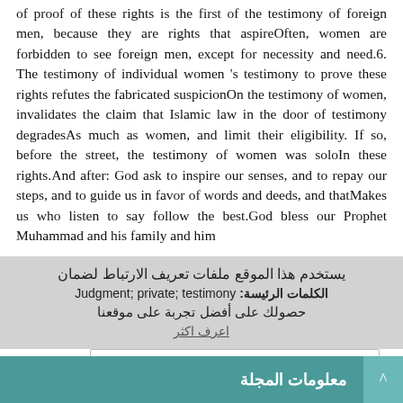of proof of these rights is the first of the testimony of foreign men, because they are rights that aspireOften, women are forbidden to see foreign men, except for necessity and need.6. The testimony of individual women 's testimony to prove these rights refutes the fabricated suspicionOn the testimony of women, invalidates the claim that Islamic law in the door of testimony degradesAs much as women, and limit their eligibility. If so, before the street, the testimony of women was soloIn these rights.And after: God ask to inspire our senses, and to repay our steps, and to guide us in favor of words and deeds, and thatMakes us who listen to say follow the best.God bless our Prophet Muhammad and his family and him
الكلمات الرئيسة: Judgment; private; testimony
يستخدم هذا الموقع ملفات تعريف الارتباط لضمان حصولك على أفضل تجربة على موقعنا
اعرف اكثر
هيئة:
معلومات المجلة